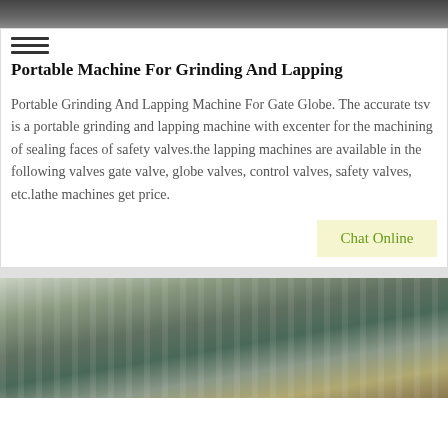[Figure (photo): Top partial photo, dark industrial scene cropped at top]
Portable Machine For Grinding And Lapping
Portable Grinding And Lapping Machine For Gate Globe. The accurate tsv is a portable grinding and lapping machine with excenter for the machining of sealing faces of safety valves.the lapping machines are available in the following valves gate valve, globe valves, control valves, safety valves, etc.lathe machines get price.
Chat Online
[Figure (photo): Bottom photo showing industrial machinery or construction equipment in a warehouse or factory setting]